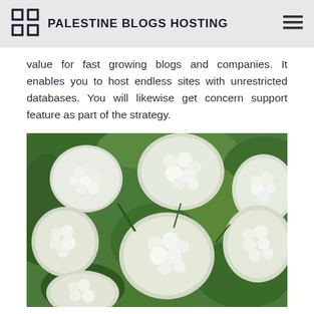PALESTINE BLOGS HOSTING
value for fast growing blogs and companies. It enables you to host endless sites with unrestricted databases. You will likewise get concern support feature as part of the strategy.
[Figure (photo): Close-up photograph of white hydrangea flowers with green leaves in the background]